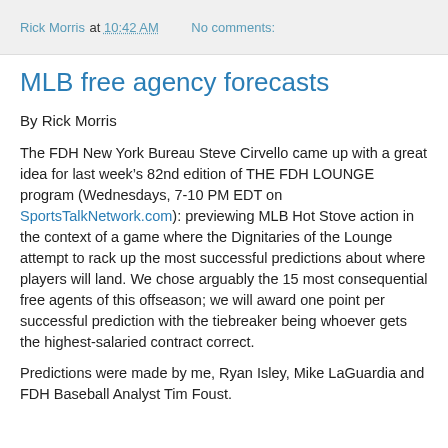Rick Morris at 10:42 AM   No comments:
MLB free agency forecasts
By Rick Morris
The FDH New York Bureau Steve Cirvello came up with a great idea for last week’s 82nd edition of THE FDH LOUNGE program (Wednesdays, 7-10 PM EDT on SportsTalkNetwork.com): previewing MLB Hot Stove action in the context of a game where the Dignitaries of the Lounge attempt to rack up the most successful predictions about where players will land. We chose arguably the 15 most consequential free agents of this offseason; we will award one point per successful prediction with the tiebreaker being whoever gets the highest-salaried contract correct.
Predictions were made by me, Ryan Isley, Mike LaGuardia and FDH Baseball Analyst Tim Foust.